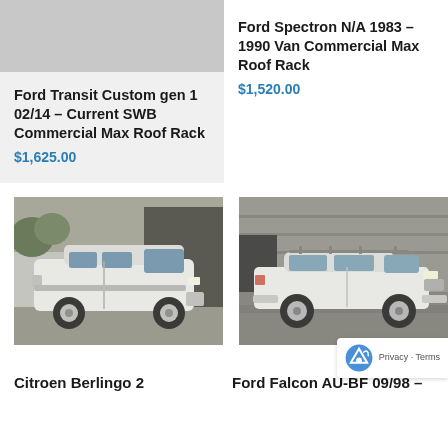Ford Transit Custom gen 1 02/14 – Current SWB Commercial Max Roof Rack
$1,625.00
Ford Spectron N/A 1983 – 1990 Van Commercial Max Roof Rack
$1,520.00
[Figure (photo): White Citroen Berlingo van photographed outdoors near a building]
[Figure (photo): White Ford Falcon station wagon with roof rack photographed outdoors near industrial building]
Citroen Berlingo 2
Ford Falcon AU-BF 09/98 –